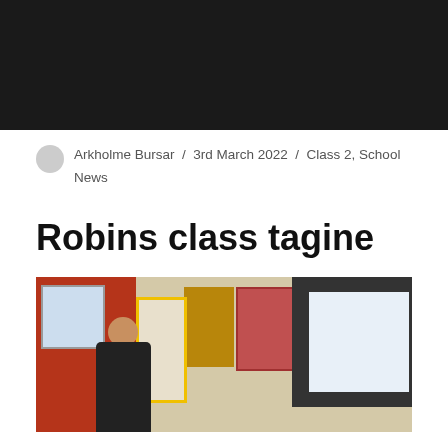[Figure (photo): Dark/black header image at the top of the page]
Arkholme Bursar / 3rd March 2022 / Class 2, School News
Robins class tagine
[Figure (photo): Classroom photo showing a teacher or student at a desk with a smartboard/screen on the right displaying text, colorful classroom displays visible including a pink/red board and cork board, a yellow-bordered door in the background, and classroom furniture.]